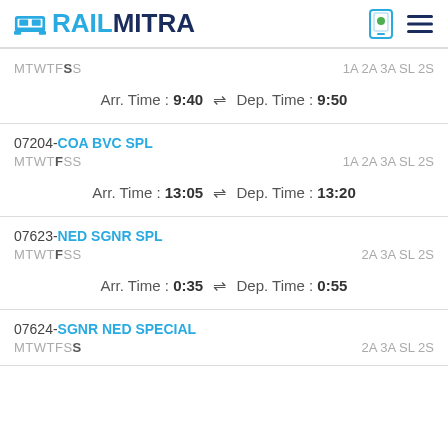RAILMITRA
MTWTFSS  1A 2A 3A SL 2S
Arr. Time : 9:40 ⇌ Dep. Time : 9:50
07204-COA BVC SPL
MTWTFSS  1A 2A 3A SL 2S
Arr. Time : 13:05 ⇌ Dep. Time : 13:20
07623-NED SGNR SPL
MTWTFSS  2A 3A SL 2S
Arr. Time : 0:35 ⇌ Dep. Time : 0:55
07624-SGNR NED SPECIAL
MTWTFSS  2A 3A SL 2S